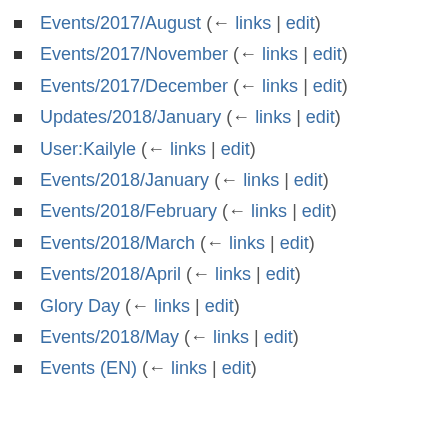Events/2017/August  (← links | edit)
Events/2017/November  (← links | edit)
Events/2017/December  (← links | edit)
Updates/2018/January  (← links | edit)
User:Kailyle  (← links | edit)
Events/2018/January  (← links | edit)
Events/2018/February  (← links | edit)
Events/2018/March  (← links | edit)
Events/2018/April  (← links | edit)
Glory Day  (← links | edit)
Events/2018/May  (← links | edit)
Events (EN)  (← links | edit)